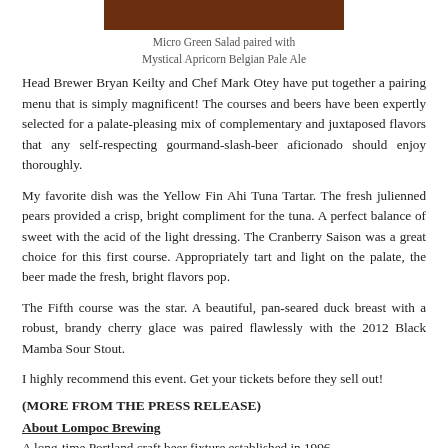[Figure (photo): Photo of Micro Green Salad paired with Mystical Apricorn Belgian Pale Ale — dark reddish-brown image placeholder visible at top]
Micro Green Salad paired with
Mystical Apricorn Belgian Pale Ale
Head Brewer Bryan Keilty and Chef Mark Otey have put together a pairing menu that is simply magnificent! The courses and beers have been expertly selected for a palate-pleasing mix of complementary and juxtaposed flavors that any self-respecting gourmand-slash-beer aficionado should enjoy thoroughly.
My favorite dish was the Yellow Fin Ahi Tuna Tartar. The fresh julienned pears provided a crisp, bright compliment for the tuna. A perfect balance of sweet with the acid of the light dressing. The Cranberry Saison was a great choice for this first course. Appropriately tart and light on the palate, the beer made the fresh, bright flavors pop.
The Fifth course was the star. A beautiful, pan-seared duck breast with a robust, brandy cherry glace was paired flawlessly with the 2012 Black Mamba Sour Stout.
I highly recommend this event. Get your tickets before they sell out!
(MORE FROM THE PRESS RELEASE)
About Lompoc Brewing
A long-time Portland craft beer fixture established in 1996